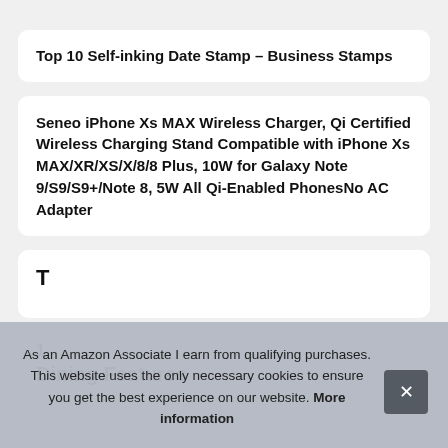Top 10 Self-inking Date Stamp – Business Stamps
Seneo iPhone Xs MAX Wireless Charger, Qi Certified Wireless Charging Stand Compatible with iPhone Xs MAX/XR/XS/X/8/8 Plus, 10W for Galaxy Note 9/S9/S9+/Note 8, 5W All Qi-Enabled PhonesNo AC Adapter
T
C
1
Dining Features
As an Amazon Associate I earn from qualifying purchases. This website uses the only necessary cookies to ensure you get the best experience on our website. More information